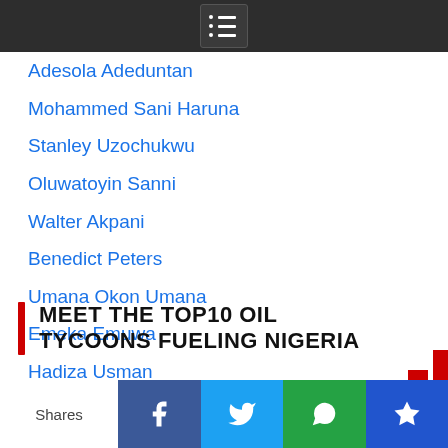Menu icon / navigation header
Adesola Adeduntan
Mohammed Sani Haruna
Stanley Uzochukwu
Oluwatoyin Sanni
Walter Akpani
Benedict Peters
Umana Okon Umana
Emeka Emuwa
Hadiza Usman
Is-haq Oloyede
MEET THE TOP10 OIL TYCOONS FUELING NIGERIA
[Figure (screenshot): Social share bar with Facebook, Twitter, WhatsApp, and crown/bookmark buttons, plus Shares label]